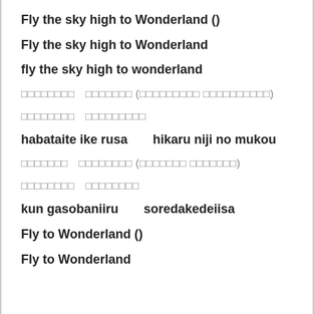Fly the sky high to Wonderland ()
Fly the sky high to Wonderland
fly the sky high to wonderland
□□□□□□□□　□□□□□□□ (□□□□□□□□□ □□□□□□□□□□)
□□□□□□□□　□□□□□□□□□
habataite ike rusa　　hikaru niji no mukou
□□□□□□□　□□□□□□□□ (□□□□□□□ □□□□□□□)
□□□□□□□□　□□□□□□□□
kun gasobaniiru　　soredakedeiisa
Fly to Wonderland ()
Fly to Wonderland